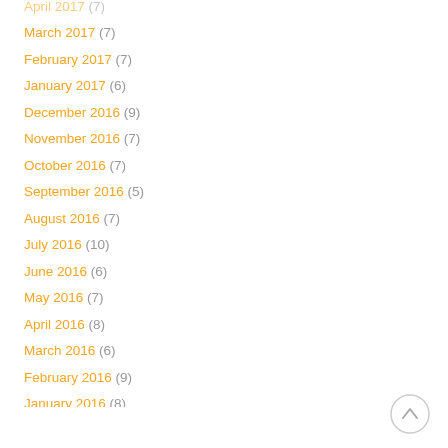April 2017 (7)
March 2017 (7)
February 2017 (7)
January 2017 (6)
December 2016 (9)
November 2016 (7)
October 2016 (7)
September 2016 (5)
August 2016 (7)
July 2016 (10)
June 2016 (6)
May 2016 (7)
April 2016 (8)
March 2016 (6)
February 2016 (9)
January 2016 (8)